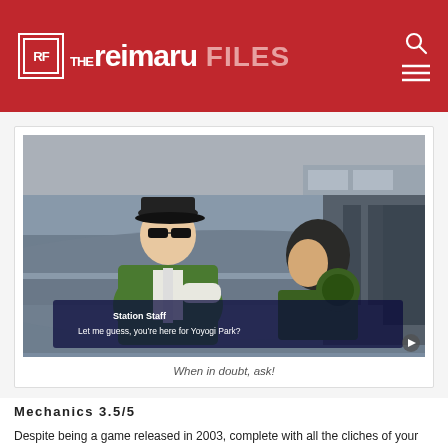THE reimaru FILES
[Figure (screenshot): Video game screenshot from Shin Megami Tensei III Nocturne HD showing a station staff character in green uniform behind a counter speaking to the protagonist. Subtitle text reads: 'Station Staff / Let me guess, you're here for Yoyogi Park?']
When in doubt, ask!
Mechanics 3.5/5
Despite being a game released in 2003, complete with all the cliches of your typical JRPG, Shin Megami Tensei III Nocturne HD's mechanics are surprisingly easy to get a good grasp of. Of course if you've been playing SMT ever since the series came out of Japan or have experienced Persona games,